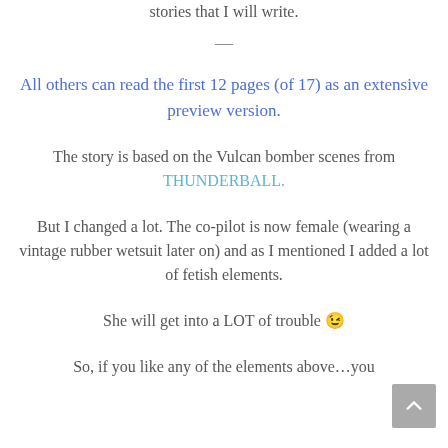stories that I will write.
—
All others can read the first 12 pages (of 17) as an extensive preview version.
The story is based on the Vulcan bomber scenes from THUNDERBALL.
But I changed a lot. The co-pilot is now female (wearing a vintage rubber wetsuit later on) and as I mentioned I added a lot of fetish elements.
She will get into a LOT of trouble 😉
So, if you like any of the elements above…you